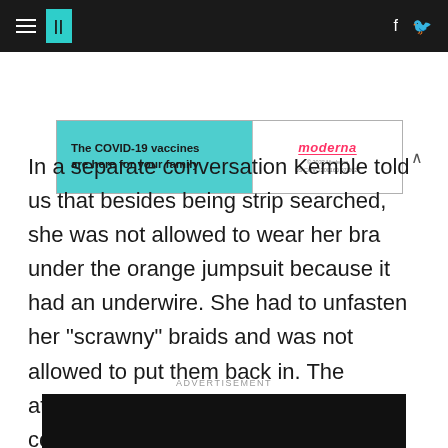HuffPost navigation with logo and social icons
[Figure (other): Moderna COVID-19 vaccine advertisement banner: 'The COVID-19 vaccines are here for your family' with Moderna logo]
In a separate conversation Kemble told us that besides being strip searched, she was not allowed to wear her bra under the orange jumpsuit because it had an underwire. She had to unfasten her "scrawny" braids and was not allowed to put them back in. The attempt at dehumanization was complete.
ADVERTISEMENT
[Figure (other): Black advertisement video/image placeholder]